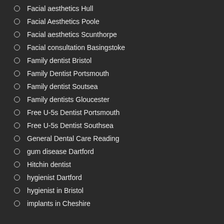Facial aesthetics Hull
Facial Aesthetics Poole
Facial aesthetics Scunthorpe
Facial consultation Basingstoke
Family dentist Bristol
Family Dentist Portsmouth
Family dentist Soutsea
Family dentists Gloucester
Free U-5s Dentist Portsmouth
Free U-5s Dentist Southsea
General Dental Care Reading
gum disease Dartford
Hitchin dentist
hygienist Dartford
hygienist in Bristol
implants in Cheshire